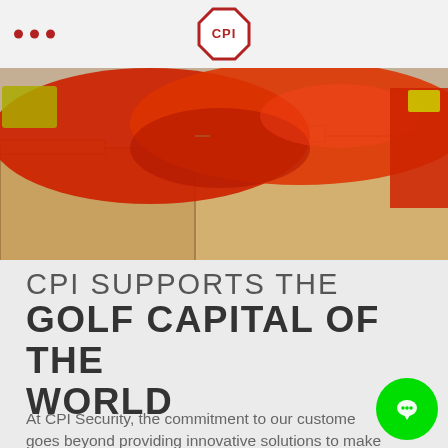CPI logo header with navigation dots
[Figure (photo): Warehouse scene with open cardboard boxes filled with red jackets/clothing and a yellow safety item visible, shot in a logistics or warehouse environment.]
CPI SUPPORTS THE GOLF CAPITAL OF THE WORLD
At CPI Security, the commitment to our customers goes beyond providing innovative solutions to make